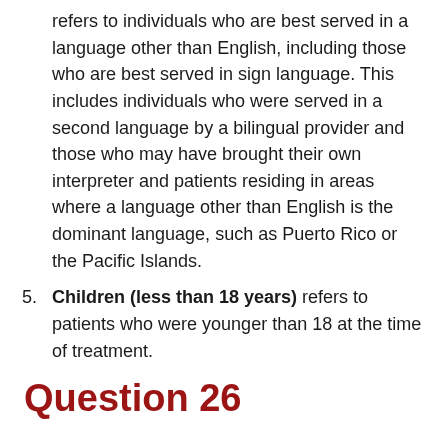refers to individuals who are best served in a language other than English, including those who are best served in sign language. This includes individuals who were served in a second language by a bilingual provider and those who may have brought their own interpreter and patients residing in areas where a language other than English is the dominant language, such as Puerto Rico or the Pacific Islands.
5. Children (less than 18 years) refers to patients who were younger than 18 at the time of treatment.
Question 26